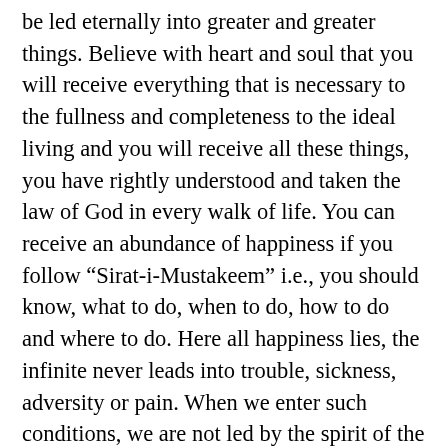be led eternally into greater and greater things. Believe with heart and soul that you will receive everything that is necessary to the fullness and completeness to the ideal living and you will receive all these things, you have rightly understood and taken the law of God in every walk of life. You can receive an abundance of happiness if you follow “Sirat-i-Mustakeem” i.e., you should know, what to do, when to do, how to do and where to do. Here all happiness lies, the infinite never leads into trouble, sickness, adversity or pain. When we enter such conditions, we are not led by the spirit of the Most High, we are simply going away from His Spirit, and thus create the very ills from which we soon must suffer. There the one great remedy that can heal all the ills of human life is found in that wonderful statement, “Return Ye Unto God”